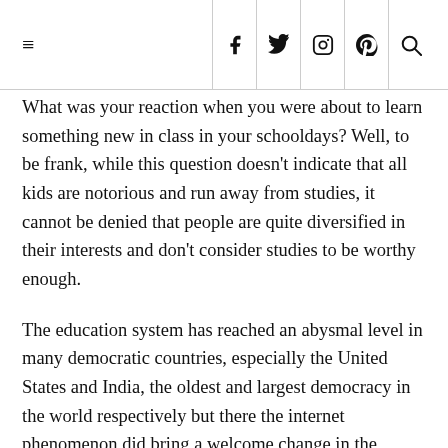≡  f  twitter  instagram  pinterest  search
What was your reaction when you were about to learn something new in class in your schooldays? Well, to be frank, while this question doesn't indicate that all kids are notorious and run away from studies, it cannot be denied that people are quite diversified in their interests and don't consider studies to be worthy enough.
The education system has reached an abysmal level in many democratic countries, especially the United States and India, the oldest and largest democracy in the world respectively but there the internet phenomenon did bring a welcome change in the 1980s.
Then the social media revolution in the 2000s took things a step further where youngsters were no longer under the tyrannical mercy of schoolbooks and teachers that were only teaching the kids to memorize for exams, score high